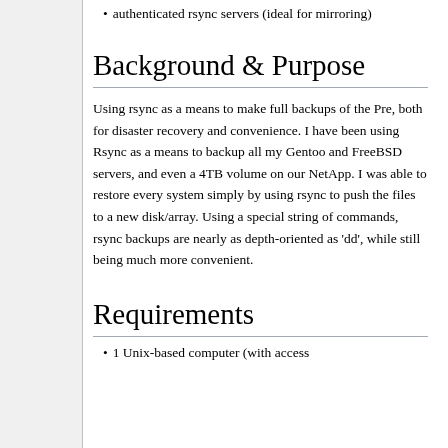authenticated rsync servers (ideal for mirroring)
Background & Purpose
Using rsync as a means to make full backups of the Pre, both for disaster recovery and convenience. I have been using Rsync as a means to backup all my Gentoo and FreeBSD servers, and even a 4TB volume on our NetApp. I was able to restore every system simply by using rsync to push the files to a new disk/array. Using a special string of commands, rsync backups are nearly as depth-oriented as 'dd', while still being much more convenient.
Requirements
1 Unix-based computer (with access